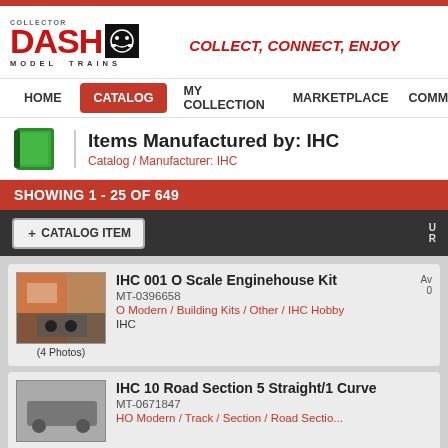COLLECT, CONNECT, ENJOY — Collector DASH Model Trains
HOME | CATALOG | MY COLLECTION | MARKETPLACE | COMMU...
Items Manufactured by: IHC
Catalog / Manufacturer: IHC
SHOWING 1 - 25 OF 649
+ CATALOG ITEM
IHC 001 O Scale Enginehouse Kit
MT-0396658
O Modern / Building Kits / Other / IHC Hobby
IHC
(4 Photos)
IHC 10 Road Section 5 Straight/1 Curve
MT-0671847